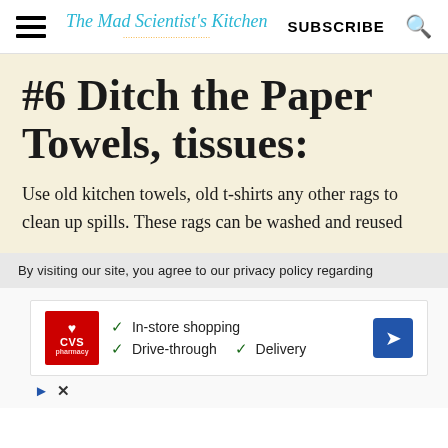The Mad Scientist's Kitchen | SUBSCRIBE
#6 Ditch the Paper Towels, tissues:
Use old kitchen towels, old t-shirts any other rags to clean up spills. These rags can be washed and reused
By visiting our site, you agree to our privacy policy regarding
[Figure (screenshot): CVS Pharmacy advertisement showing In-store shopping, Drive-through, and Delivery options with navigation icon]